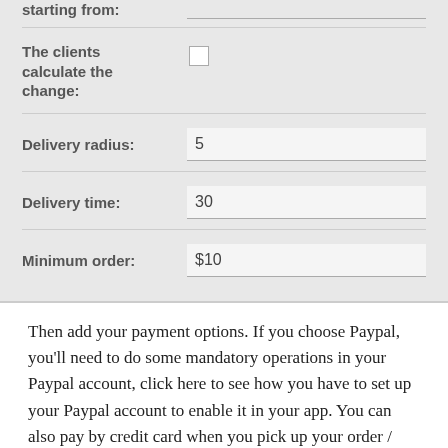| starting from: |  |
| The clients calculate the change: | ☐ |
| Delivery radius: | 5 |
| Delivery time: | 30 |
| Minimum order: | $10 |
Then add your payment options. If you choose Paypal, you'll need to do some mandatory operations in your Paypal account, click here to see how you have to set up your Paypal account to enable it in your app. You can also pay by credit card when you pick up your order / upon delivery or you can directly pay by credit card online. To do that you just have to select the option "credit card (online payment)" and fill out